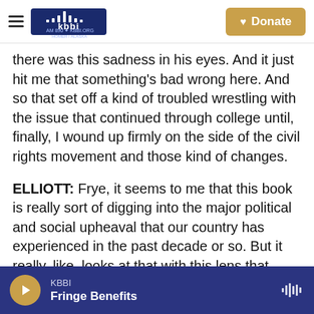KBBI AM 890 KBBI.ORG Homer Alaska | Donate
there was this sadness in his eyes. And it just hit me that something's bad wrong here. And so that set off a kind of troubled wrestling with the issue that continued through college until, finally, I wound up firmly on the side of the civil rights movement and those kind of changes.
ELLIOTT: Frye, it seems to me that this book is really sort of digging into the major political and social upheaval that our country has experienced in the past decade or so. But it really, like, looks at that with this lens that goes through the South. Why is that the right frame for this conversation?
KBBI | Fringe Benefits